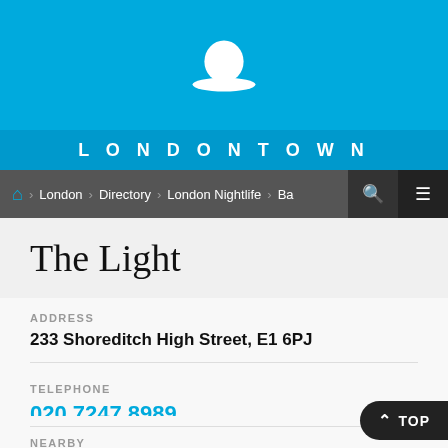[Figure (logo): LondonTown website header with blue background and white bowler hat icon]
LONDONTOWN
London > Directory > London Nightlife > Ba...
The Light
ADDRESS
233 Shoreditch High Street, E1 6PJ
TELEPHONE
020 7247 8989
NEARBY
Hotels, Entertainment, Sights and Attractions, Shopping,